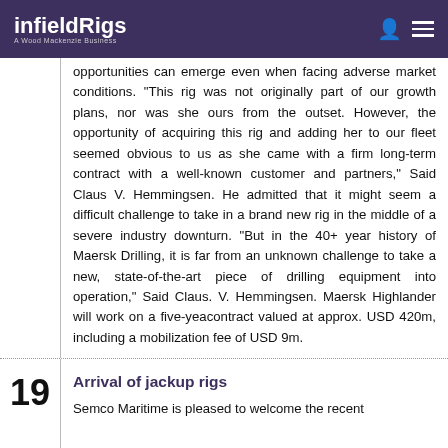infieldRigs — A Wood Mackenzie Business
opportunities can emerge even when facing adverse market conditions. "This rig was not originally part of our growth plans, nor was she ours from the outset. However, the opportunity of acquiring this rig and adding her to our fleet seemed obvious to us as she came with a firm long-term contract with a well-known customer and partners," Said Claus V. Hemmingsen. He admitted that it might seem a difficult challenge to take in a brand new rig in the middle of a severe industry downturn. "But in the 40+ year history of Maersk Drilling, it is far from an unknown challenge to take a new, state-of-the-art piece of drilling equipment into operation," Said Claus. V. Hemmingsen. Maersk Highlander will work on a five-yeacontract valued at approx. USD 420m, including a mobilization fee of USD 9m.
Arrival of jackup rigs
Semco Maritime is pleased to welcome the recent